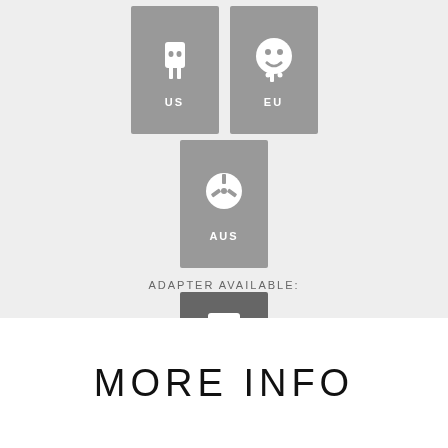[Figure (infographic): Three plug type icons (US, EU, AUS) shown as grey square tiles with white plug symbols and labels, plus a darker grey UK adapter tile below a label reading ADAPTER AVAILABLE:]
ADAPTER AVAILABLE:
MORE INFO